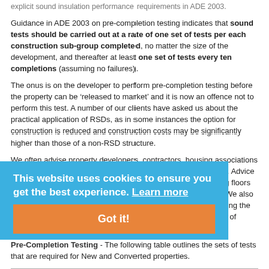explicit sound insulation performance requirements in ADE 2003.
Guidance in ADE 2003 on pre-completion testing indicates that sound tests should be carried out at a rate of one set of tests per each construction sub-group completed, no matter the size of the development, and thereafter at least one set of tests every ten completions (assuming no failures).
The onus is on the developer to perform pre-completion testing before the property can be ‘released to market’ and it is now an offence not to perform this test. A number of our clients have asked us about the practical application of RSDs, as in some instances the option for construction is reduced and construction costs may be significantly higher than those of a non-RSD structure.
We often advise property developers, contractors, housing associations and local authorities in Oxford on the implications of ADE 2003. Advice is given on the materials and construction details for separating floors and walls and the key interfaces with other building elements. We also offer advice on the additional requirements of ADE 2003 including the control of reverberation in common areas and the performance of internal walls and floors.
Pre-Completion Testing - The following table outlines the sets of tests that are required for New and Converted properties.
| Property Types | Test Requirements |
| --- | --- |
| Dwelling-houses Including | Normally, one set of tests will comprise of 2 sound insulation tests (SITs) and 2 airborne tests:
1. Living room (wall) |
[Figure (other): Cookie consent banner overlay: 'This website uses cookies to ensure you get the best experience. Learn more' with an orange 'Got it!' button]